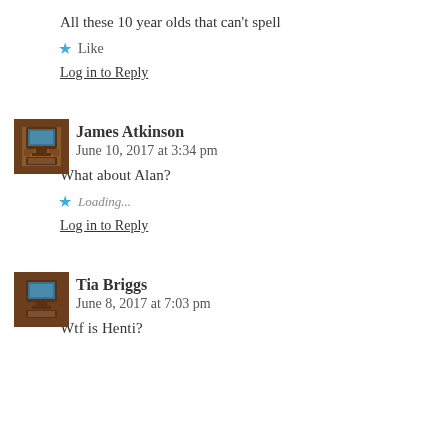All these 10 year olds that can't spell
★ Like
Log in to Reply
James Atkinson
June 10, 2017 at 3:34 pm
What about Alan?
★ Loading...
Log in to Reply
Tia Briggs
June 8, 2017 at 7:03 pm
Wtf is Henti?